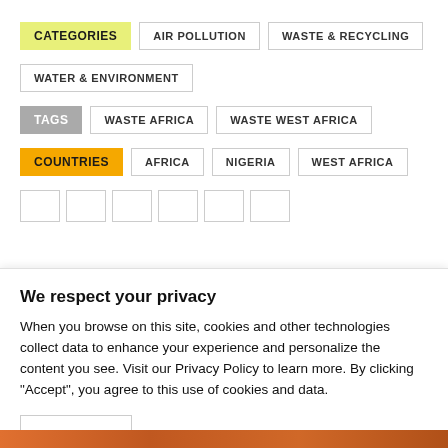CATEGORIES
AIR POLLUTION
WASTE & RECYCLING
WATER & ENVIRONMENT
TAGS
WASTE AFRICA
WASTE WEST AFRICA
COUNTRIES
AFRICA
NIGERIA
WEST AFRICA
We respect your privacy
When you browse on this site, cookies and other technologies collect data to enhance your experience and personalize the content you see. Visit our Privacy Policy to learn more. By clicking "Accept", you agree to this use of cookies and data.
Accept